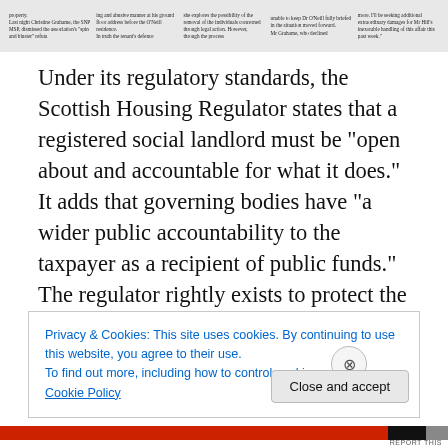[Figure (screenshot): Newspaper article header snippet showing columns of small text from a news article, partially visible at the top of the page.]
Under its regulatory standards, the Scottish Housing Regulator states that a registered social landlord must be “open about and accountable for what it does.” It adds that governing bodies have “a wider public accountability to the taxpayer as a recipient of public funds.” The regulator rightly exists to protect the interests of tenants and those unfortunate enough to find themselves homeless, but not, unfortunately, everyone. Anomalies exist, an example being owner occupiers like the O’Neills, who are indirectly
Privacy & Cookies: This site uses cookies. By continuing to use this website, you agree to their use.
To find out more, including how to control cookies, see here: Cookie Policy